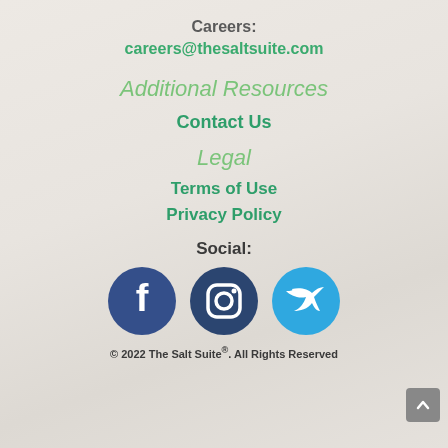Careers:
careers@thesaltsuite.com
Additional Resources
Contact Us
Legal
Terms of Use
Privacy Policy
Social:
[Figure (illustration): Three social media icons: Facebook (dark blue circle with white 'f'), Instagram (dark blue circle with white camera icon), Twitter (light blue circle with white bird icon)]
© 2022 The Salt Suite®. All Rights Reserved